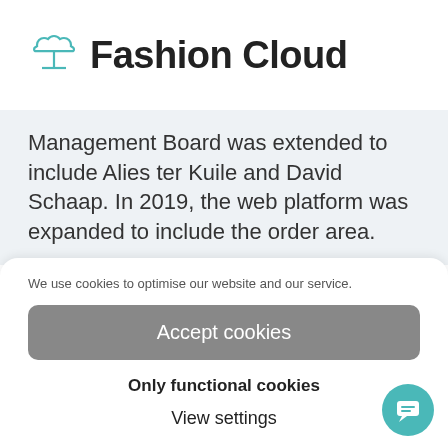Fashion Cloud
Management Board was extended to include Alies ter Kuile and David Schaap. In 2019, the web platform was expanded to include the order area.
We use cookies to optimise our website and our service.
Accept cookies
Only functional cookies
View settings
FC – Cookie Policy
FC – Privacy | FASHION CLOUD
FC – Legal Notice | FA... CLOUD